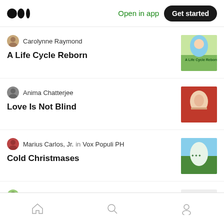Medium logo | Open in app | Get started
Carolynne Raymond — A Life Cycle Reborn
Anima Chatterjee — Love Is Not Blind
Marius Carlos, Jr. in Vox Populi PH — Cold Christmases
Priyanka Govindaraj in Bal Katha — THE GIRL WHO SANG
Home | Search | Profile